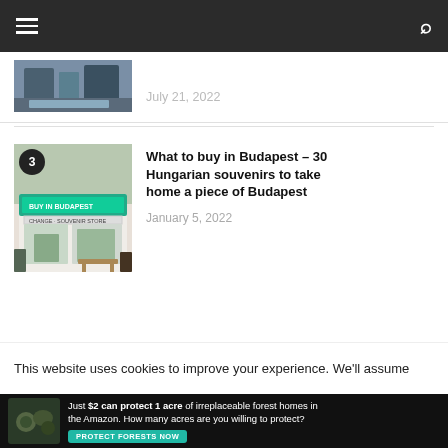Navigation header with hamburger menu and search icon
[Figure (photo): Partial article thumbnail (top portion of a transport/metro interior image)]
July 21, 2022
[Figure (photo): Budapest souvenir shop storefront with colorful signage]
What to buy in Budapest – 30 Hungarian souvenirs to take home a piece of Budapest
January 5, 2022
This website uses cookies to improve your experience. We'll assume
[Figure (infographic): Advertisement: Just $2 can protect 1 acre of irreplaceable forest homes in the Amazon. How many acres are you willing to protect? PROTECT FORESTS NOW]